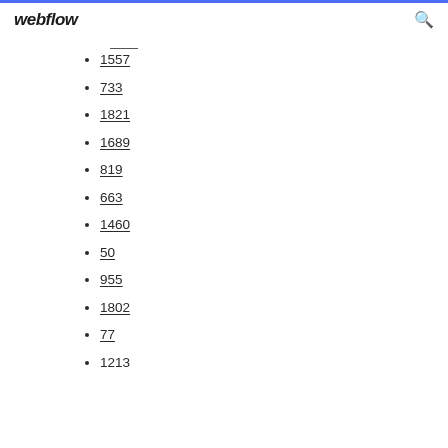webflow
1557
733
1821
1689
819
663
1460
50
955
1802
77
1213